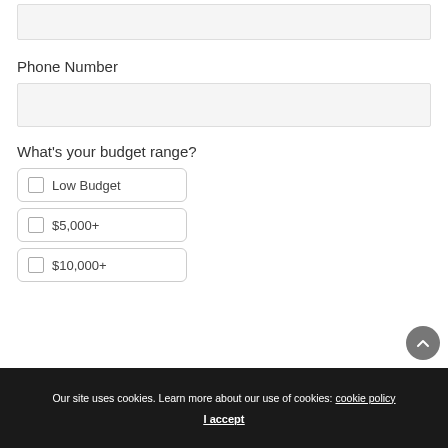(input box - top, partial)
Phone Number
(phone number input box)
What's your budget range?
Low Budget
$5,000+
$10,000+
Our site uses cookies. Learn more about our use of cookies: cookie policy
I accept